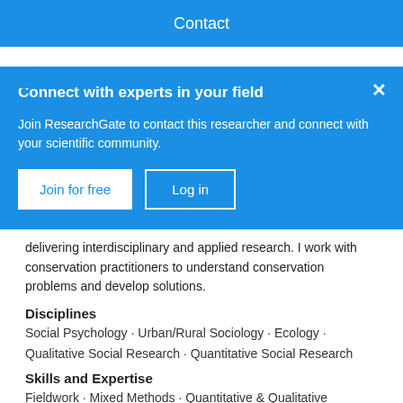Contact
Connect with experts in your field
Join ResearchGate to contact this researcher and connect with your scientific community.
delivering interdisciplinary and applied research. I work with conservation practitioners to understand conservation problems and develop solutions.
Disciplines
Social Psychology · Urban/Rural Sociology · Ecology · Qualitative Social Research · Quantitative Social Research
Skills and Expertise
Fieldwork · Mixed Methods · Quantitative & Qualitative Research · Social Network Analysis · Social Marketing · Investigative Interviewing · Academic Writing · Impact Evaluation